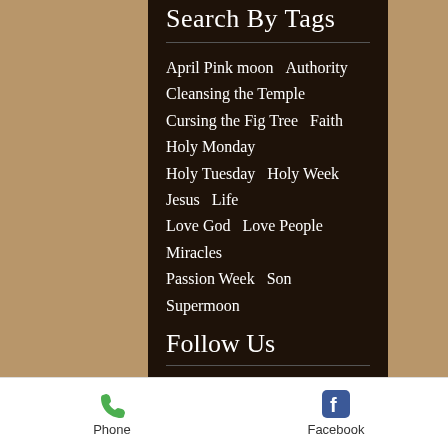Search By Tags
April Pink moon
Authority
Cleansing the Temple
Cursing the Fig Tree
Faith
Holy Monday
Holy Tuesday
Holy Week
Jesus
Life
Love God
Love People
Miracles
Passion Week
Son
Supermoon
Follow Us
[Figure (infographic): Social media icons: Facebook (blue), Twitter (blue), Google+ (red)]
Phone    Facebook